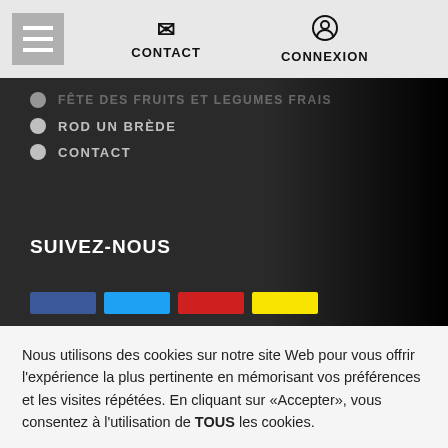CONTACT | CONNEXION
FETE DES FRUITS ET LEGUMES FRAIS
ROD UN BRÈDE
CONTACT
SUIVEZ-NOUS
Nous utilisons des cookies sur notre site Web pour vous offrir l'expérience la plus pertinente en mémorisant vos préférences et les visites répétées. En cliquant sur «Accepter», vous consentez à l'utilisation de TOUS les cookies.
Paramètres des cookies | Autoriser